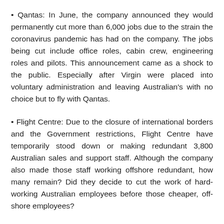Qantas: In June, the company announced they would permanently cut more than 6,000 jobs due to the strain the coronavirus pandemic has had on the company. The jobs being cut include office roles, cabin crew, engineering roles and pilots. This announcement came as a shock to the public. Especially after Virgin were placed into voluntary administration and leaving Australian's with no choice but to fly with Qantas.
Flight Centre: Due to the closure of international borders and the Government restrictions, Flight Centre have temporarily stood down or making redundant 3,800 Australian sales and support staff. Although the company also made those staff working offshore redundant, how many remain? Did they decide to cut the work of hard-working Australian employees before those cheaper, off-shore employees?
Woolworths: In June, made the announcement that the